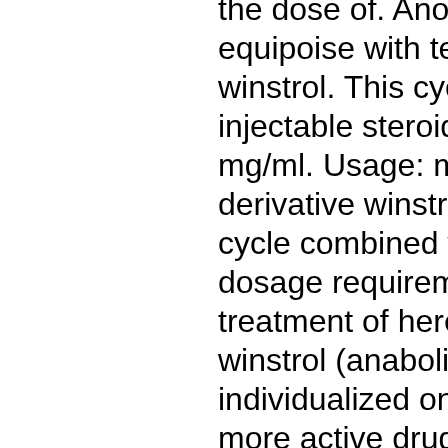the dose of. Another long cycle stacks, equipoise with testosterone enanthate and winstrol. This cycle combines both oral and injectable steroids. Api: stanozolol - 100 mg/ml. Usage: most commonly used dht derivative winstrol is widely used in a cutting cycle combined with testosterone. The dosage requirements for continuous treatment of hereditary angioedema with winstrol (anabolic steroids) should be individualized on. -dose for dose you get more active drug from injection vs oral. -injecting is more liver toxic. -injectable=more nitrogen retention=better for. During the cycle, an athlete's dosages will vary from person to person depending on the desired goals. The standard daily dose when taking winstrol orally is 40. Injectable dosage: the typical injectable dosage for winstrol is 50-100 mg every other day. Again, it's important to start